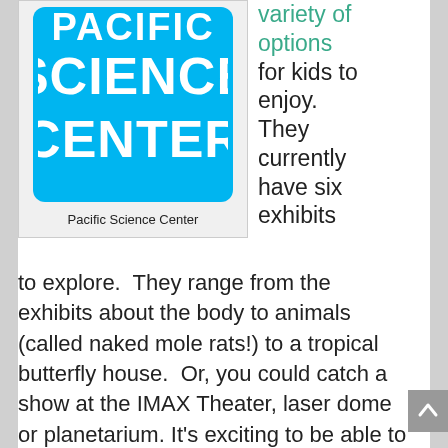[Figure (logo): Pacific Science Center logo — white text on bright blue rounded rectangle background reading 'SCIENCE CENTER']
Pacific Science Center
variety of options for kids to enjoy. They currently have six exhibits to explore.  They range from the exhibits about the body to animals (called naked mole rats!) to a tropical butterfly house.  Or, you could catch a show at the IMAX Theater, laser dome or planetarium. It's exciting to be able to zoom across the galaxy with the push of a button.  You can even catch a live science